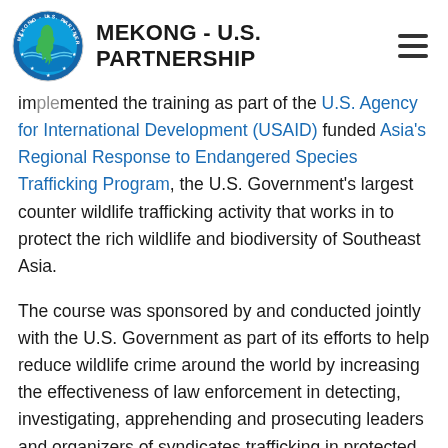MEKONG - U.S. PARTNERSHIP
implemented the training as part of the U.S. Agency for International Development (USAID) funded Asia's Regional Response to Endangered Species Trafficking Program, the U.S. Government's largest counter wildlife trafficking activity that works in to protect the rich wildlife and biodiversity of Southeast Asia.
The course was sponsored by and conducted jointly with the U.S. Government as part of its efforts to help reduce wildlife crime around the world by increasing the effectiveness of law enforcement in detecting, investigating, apprehending and prosecuting leaders and organizers of syndicates trafficking in protected wildlife.